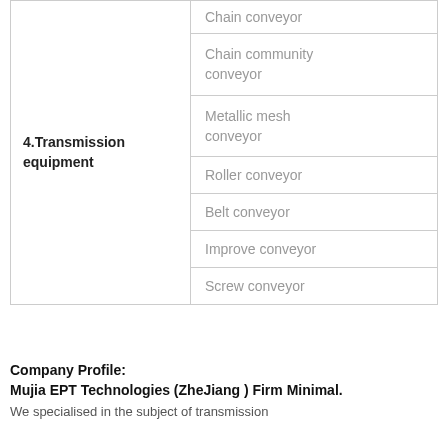| Category | Items |
| --- | --- |
| 4.Transmission equipment | Chain conveyor |
|  | Chain community conveyor |
|  | Metallic mesh conveyor |
|  | Roller conveyor |
|  | Belt conveyor |
|  | Improve conveyor |
|  | Screw conveyor |
Company Profile:
Mujia EPT Technologies (ZheJiang ) Firm Minimal.
We specialised in the subject of transmission